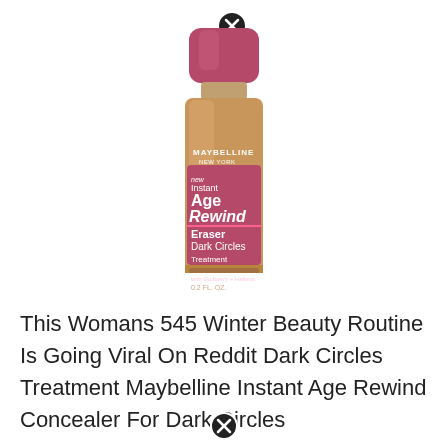[Figure (photo): Maybelline Instant Age Rewind Eraser Dark Circles Treatment Concealer bottle with pink/magenta label and cap, tan/golden concealer color visible through clear bottle body. A close/dismiss (X) button icon appears at the top of the image.]
This Womans 545 Winter Beauty Routine Is Going Viral On Reddit Dark Circles Treatment Maybelline Instant Age Rewind Concealer For Dark Circles